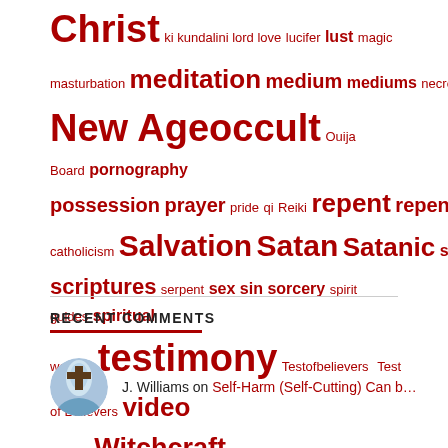Christ ki kundalini lord love lucifer lust magic masturbation meditation medium mediums necromancy New Age occult Ouija Board pornography possession prayer pride qi Reiki repent repentance roman catholicism Salvation Satan Satanic satanism savior scriptures serpent sex sin sorcery spirit guides spiritual warfare testimony Testofbelievers Test of Believers video wicked Witchcraft yeshua yoga
RECENT COMMENTS
J. Williams on Self-Harm (Self-Cutting) Can b…